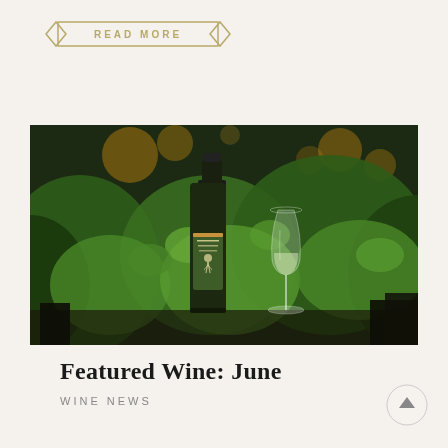[Figure (other): READ MORE button with golden diamond decorations on left and right sides, gold border, on beige background]
[Figure (photo): A wine bottle with green label and a glass of white wine on a table surrounded by lush green foliage and warm bokeh lights in the background]
Featured Wine: June
WINE NEWS